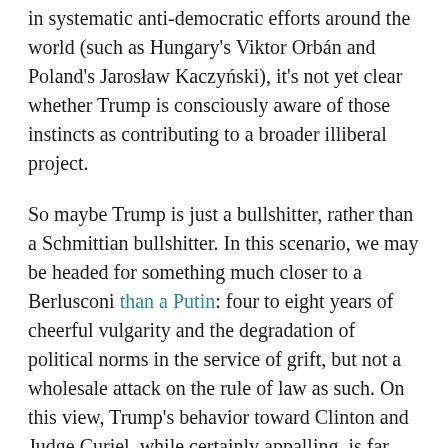in systematic anti-democratic efforts around the world (such as Hungary's Viktor Orbán and Poland's Jarosław Kaczyński), it's not yet clear whether Trump is consciously aware of those instincts as contributing to a broader illiberal project.
So maybe Trump is just a bullshitter, rather than a Schmittian bullshitter. In this scenario, we may be headed for something much closer to a Berlusconi than a Putin: four to eight years of cheerful vulgarity and the degradation of political norms in the service of grift, but not a wholesale attack on the rule of law as such. On this view, Trump's behavior toward Clinton and Judge Curiel, while certainly appalling, is far less sinister—just a lashing-out at those who had upset him. The wolf's bark is worse than his bite.
And there's a case for this with Trump. While he yapped about Curiel, after all, he never showed any serious intentions of overturning the legitimacy of...